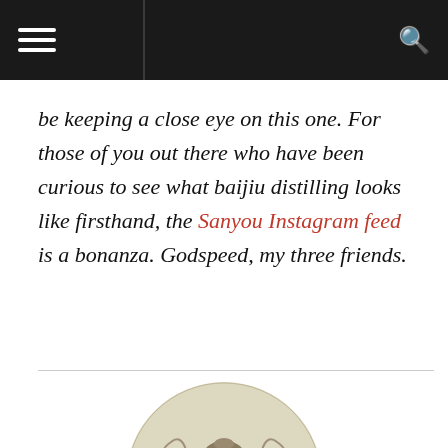[navigation bar with hamburger menu and search icon]
be keeping a close eye on this one. For those of you out there who have been curious to see what baijiu distilling looks like firsthand, the Sanyou Instagram feed is a bonanza. Godspeed, my three friends.
[Figure (illustration): Circular avatar illustration of a bearded figure with decorative flowing elements around them, rendered in a sepia/tan engraving style]